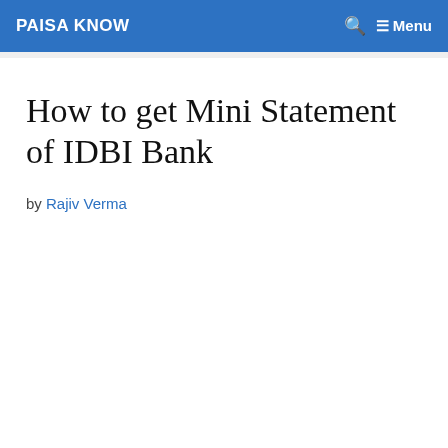PAISA KNOW    🔍  ☰ Menu
How to get Mini Statement of IDBI Bank
by Rajiv Verma